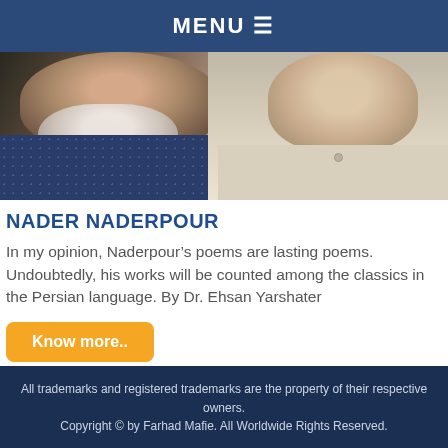MENU ≡
[Figure (photo): Photo of two men, one with a white beard wearing a patterned shirt on the left, and another in a light-colored shirt on the right]
NADER NADERPOUR
In my opinion, Naderpour's poems are lasting poems. Undoubtedly, his works will be counted among the classics in the Persian language. By Dr. Ehsan Yarshater
Know more..
All trademarks and registered trademarks are the property of their respective owners. Copyright © by Farhad Mafie. All Worldwide Rights Reserved.